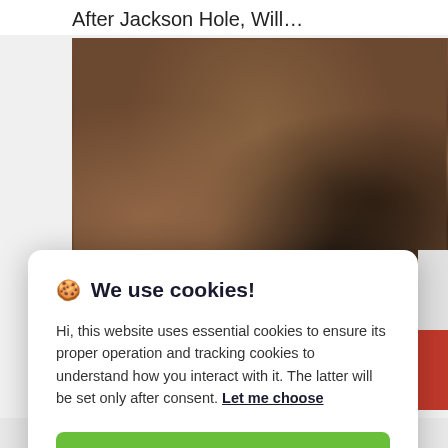After Jackson Hole, Will…
[Figure (photo): Blurred photo of a bar interior with people and shelves of bottles in the background]
🍪 We use cookies!
Hi, this website uses essential cookies to ensure its proper operation and tracking cookies to understand how you interact with it. The latter will be set only after consent. Let me choose
Accept all
Reject all